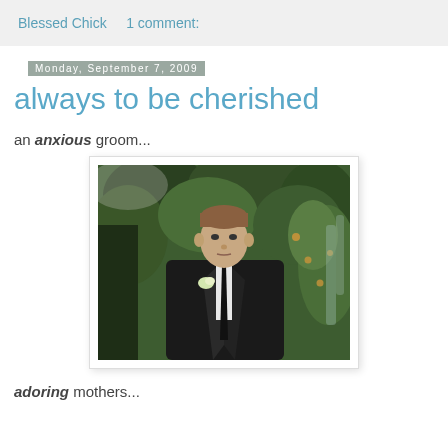Blessed Chick    1 comment:
Monday, September 7, 2009
always to be cherished
an anxious groom...
[Figure (photo): A groom in a black suit with a white boutonniere standing in front of green foliage with string lights]
adoring mothers...